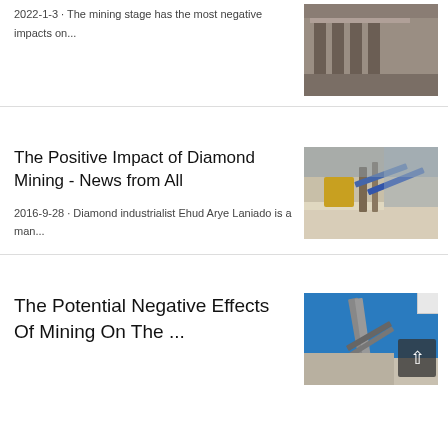2022-1-3 · The mining stage has the most negative impacts on...
[Figure (photo): Industrial mining building with columns]
The Positive Impact of Diamond Mining - News from All
2016-9-28 · Diamond industrialist Ehud Arye Laniado is a man...
[Figure (photo): Open pit mining site with conveyor belts and sand piles]
The Potential Negative Effects Of Mining On The ...
[Figure (photo): Mining conveyor on blue background with rocks]